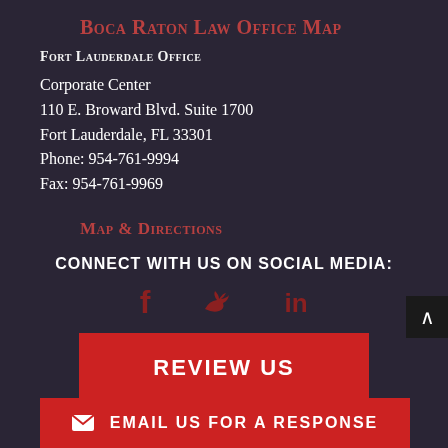Boca Raton Law Office Map
Fort Lauderdale Office
Corporate Center
110 E. Broward Blvd. Suite 1700
Fort Lauderdale, FL 33301
Phone: 954-761-9994
Fax: 954-761-9969
Map & Directions
CONNECT WITH US ON SOCIAL MEDIA:
[Figure (infographic): Social media icons: Facebook (f), Twitter (bird), LinkedIn (in) in dark red/maroon color]
REVIEW US
EMAIL US FOR A RESPONSE